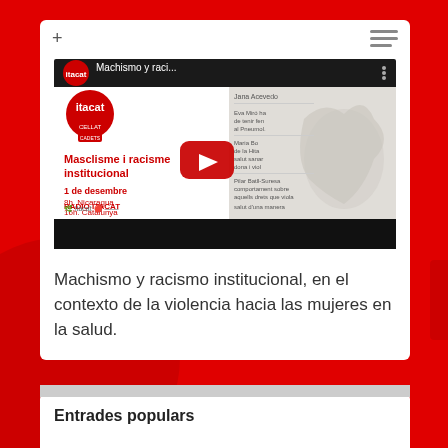[Figure (screenshot): YouTube video thumbnail for 'Machismo y raci...' showing itacat logo, title 'Masclisme i racisme institucional', date '1 de desembre 8h. Nicaragua 16h. Catalunya RADIO ITACAT', mythological creature illustration, and a red play button overlay with black progress bar at bottom]
Machismo y racismo institucional, en el contexto de la violencia hacia las mujeres en la salud.
Entrades populars